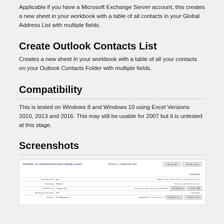Applicable if you have a Microsoft Exchange Server account, this creates a new sheet in your workbook with a table of all contacts in your Global Address List with multiple fields.
Create Outlook Contacts List
Creates a new sheet in your workbook with a table of all your contacts on your Outlook Contacts Folder with multiple fields.
Compatibility
This is tested on Windows 8 and Windows 10 using Excel Versions 2010, 2013 and 2016. This may still be usable for 2007 but it is untested at this stage.
Screenshots
[Figure (screenshot): Screenshot of BulkMail - an individualised bulk emailing system, showing a form with fields for individual email, email type, send/receive, mandatory information, address, and various buttons and notes.]